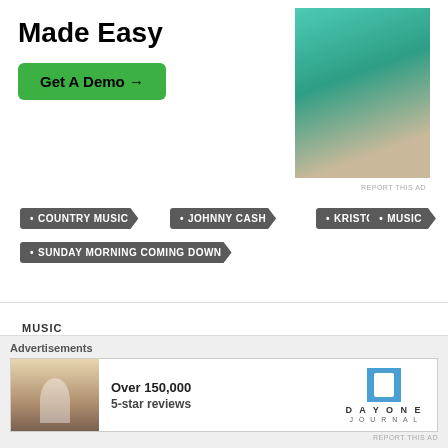[Figure (photo): Advertisement banner showing 'Made Easy' text with green Get A Demo button and a photo of a person in teal/green top at a laptop]
• COUNTRY MUSIC
• JOHNNY CASH
• KRISTOFFERSON
• MUSIC
• SUNDAY MORNING COMING DOWN
MUSIC
WILLIE NELSON :: NIGHT LIFE, 1965
▶ VIDEO  ◷ DECEMBER 26, 2016  💬 LEAVE A COMMENT
[Figure (photo): Bottom advertisement: Over 150,000 5-star reviews for Day One Journal app, showing person photographing a landscape]